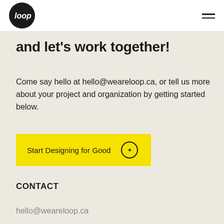Loop logo and navigation menu
and let's work together!
Come say hello at hello@weareloop.ca, or tell us more about your project and organization by getting started below.
[Figure (other): Yellow CTA button labeled 'Start Designing for Good' with a circular arrow icon]
CONTACT
hello@weareloop.ca